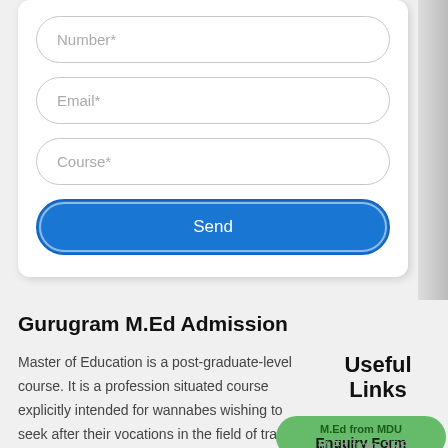[Figure (screenshot): Web form with input fields for Number, Email, Course, and a Send button]
Gurugram M.Ed Admission
Master of Education is a post-graduate-level course. It is a profession situated course explicitly intended for wannabes wishing to seek after their vocations in the field of training. The course is elaborative and top to bottom. It is arranged by specialists in the
Useful Links
M.Ed from MDU
Enquiry Form
M.Ed from SRS